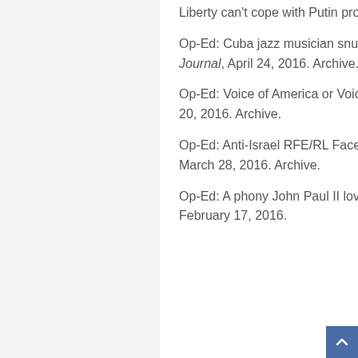Liberty can't cope with Putin propaganda, Digital Journal, May 8, 2016. Archive.
Op-Ed: Cuba jazz musician snubbed by White House and Voice of America, Digital Journal, April 24, 2016. Archive.
Op-Ed: Voice of America or Voice of Castro without any balance?, Digital Journal, April 20, 2016. Archive.
Op-Ed: Anti-Israel RFE/RL Facebook message may inspire terrorists, Digital Journal, March 28, 2016. Archive.
Op-Ed: A phony John Paul II love story distorted his real persona, Digital Journal, February 17, 2016.